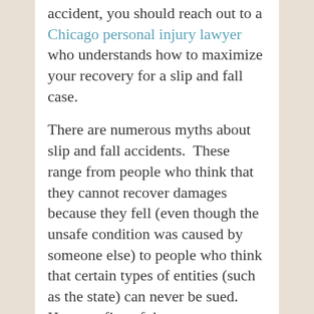accident, you should reach out to a Chicago personal injury lawyer who understands how to maximize your recovery for a slip and fall case.
There are numerous myths about slip and fall accidents.  These range from people who think that they cannot recover damages because they fell (even though the unsafe condition was caused by someone else) to people who think that certain types of entities (such as the state) can never be sued.  Here are five of the most common myths about slip and fall cases.